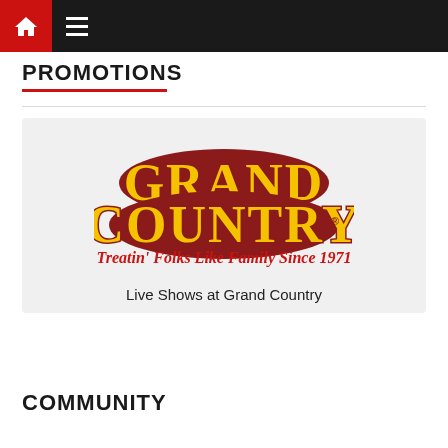Navigation bar with home icon and hamburger menu
PROMOTIONS
[Figure (logo): Grand Country logo with text 'Treatin' Folks Like Family Since 1971']
Live Shows at Grand Country
COMMUNITY